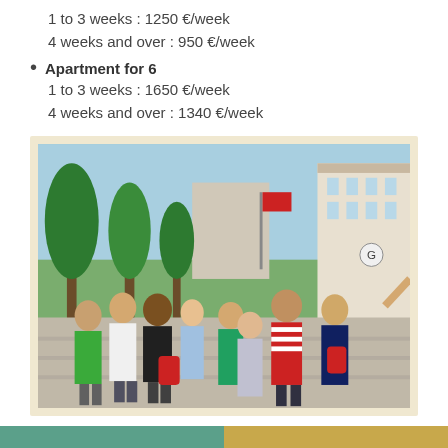1 to 3 weeks : 1250 €/week
4 weeks and over : 950 €/week
Apartment for 6
1 to 3 weeks : 1650 €/week
4 weeks and over : 1340 €/week
[Figure (photo): Group of students and adults posing on a busy street in Paris (likely Champs-Élysées), with trees, buildings, and a red flag visible in the background.]